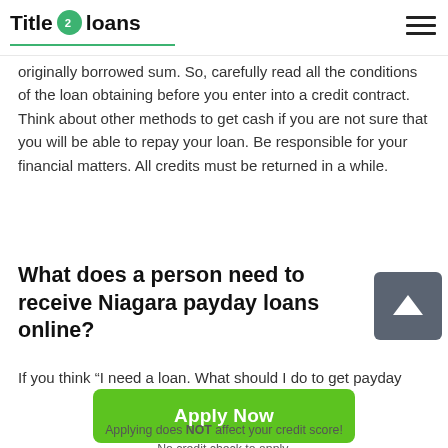Title 2 loans
originally borrowed sum. So, carefully read all the conditions of the loan obtaining before you enter into a credit contract. Think about other methods to get cash if you are not sure that you will be able to repay your loan. Be responsible for your financial matters. All credits must be returned in a while.
What does a person need to receive Niagara payday loans online?
If you think “I need a loan. What should I do to get payday
[Figure (other): Green scroll-to-top button with upward arrow]
Apply Now
Applying does NOT affect your credit score!
No credit check to apply.